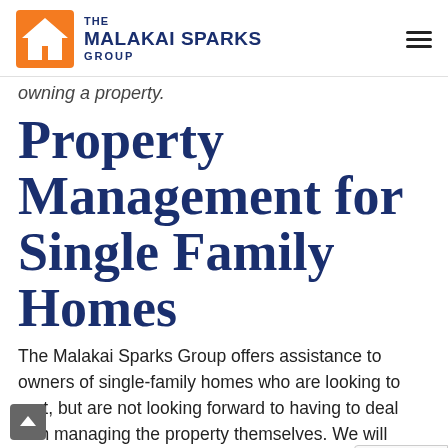THE MALAKAI SPARKS GROUP
owning a property.
Property Management for Single Family Homes
The Malakai Sparks Group offers assistance to owners of single-family homes who are looking to rent, but are not looking forward to having to deal with managing the property themselves. We will assist you with everything from finding tenants, signing leases, rent collection and handling